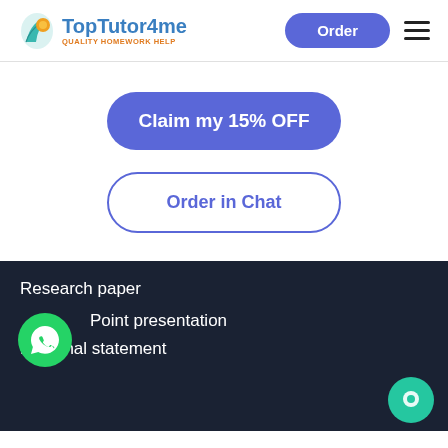TopTutor4me — QUALITY HOMEWORK HELP
Claim my 15% OFF
Order in Chat
Research paper
Point presentation
Personal statement